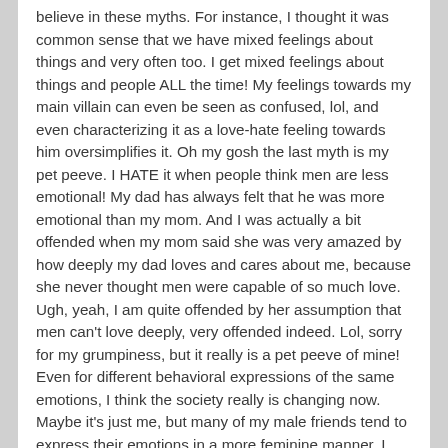believe in these myths. For instance, I thought it was common sense that we have mixed feelings about things and very often too. I get mixed feelings about things and people ALL the time! My feelings towards my main villain can even be seen as confused, lol, and even characterizing it as a love-hate feeling towards him oversimplifies it. Oh my gosh the last myth is my pet peeve. I HATE it when people think men are less emotional! My dad has always felt that he was more emotional than my mom. And I was actually a bit offended when my mom said she was very amazed by how deeply my dad loves and cares about me, because she never thought men were capable of so much love. Ugh, yeah, I am quite offended by her assumption that men can't love deeply, very offended indeed. Lol, sorry for my grumpiness, but it really is a pet peeve of mine! Even for different behavioral expressions of the same emotions, I think the society really is changing now. Maybe it's just me, but many of my male friends tend to express their emotions in a more feminine manner. I